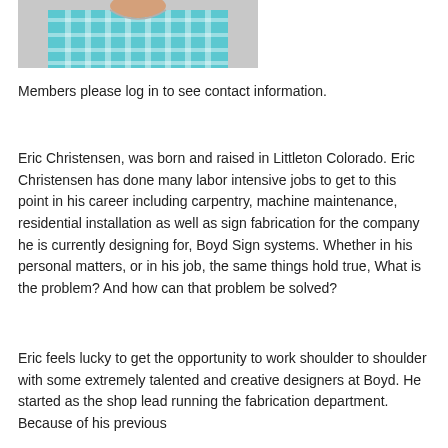[Figure (photo): Partial photo of a man wearing a blue and white checkered shirt, cropped at the shoulders/neck area]
Members please log in to see contact information.
Eric Christensen, was born and raised in Littleton Colorado. Eric Christensen has done many labor intensive jobs to get to this point in his career including carpentry, machine maintenance, residential installation as well as sign fabrication for the company he is currently designing for, Boyd Sign systems. Whether in his personal matters, or in his job, the same things hold true, What is the problem? And how can that problem be solved?
Eric feels lucky to get the opportunity to work shoulder to shoulder with some extremely talented and creative designers at Boyd. He started as the shop lead running the fabrication department. Because of his previous